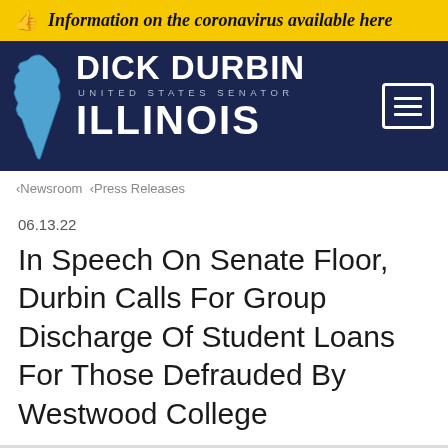Information on the coronavirus available here
[Figure (logo): Dick Durbin United States Senator Illinois official website header with navy background, Illinois state map silhouette in blue, and hamburger menu icon]
‹Newsroom ‹Press Releases
06.13.22
In Speech On Senate Floor, Durbin Calls For Group Discharge Of Student Loans For Those Defrauded By Westwood College